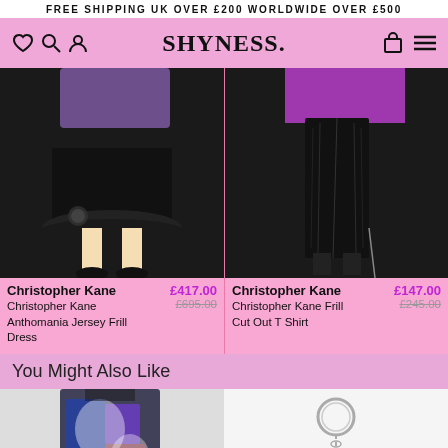FREE SHIPPING UK OVER £200 WORLDWIDE OVER £500
[Figure (screenshot): Shyness fashion store navigation bar with logo, heart/search/profile icons left, bag and menu icons right, pink background with product images in corners]
[Figure (photo): Christopher Kane black ruffled jersey frill mini dress on model, lower body visible]
Christopher Kane
Christopher Kane Anthomania Jersey Frill Dress
£417.00
£695.00
[Figure (photo): Christopher Kane black ruched frill cut out long skirt/top on model, lower body visible]
Christopher Kane
Christopher Kane Frill Cut Out T Shirt
£147.00
£245.00
You Might Also Like
[Figure (photo): Colorful sequin dress with white floral overlay, partial view]
[Figure (photo): Silver chain keyring/jewellery accessory on white background]